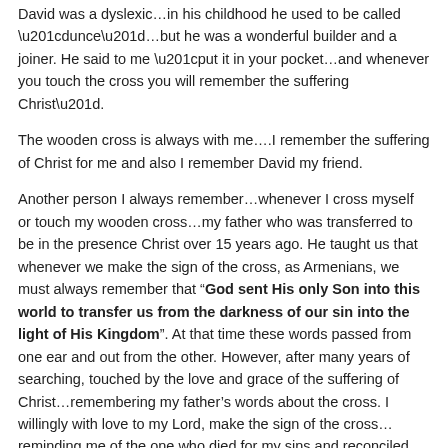David was a dyslexic…in his childhood he used to be called “dunce”…but he was a wonderful builder and a joiner. He said to me “put it in your pocket…and whenever you touch the cross you will remember the suffering Christ”.
The wooden cross is always with me….I remember the suffering of Christ for me and also I remember David my friend.
Another person I always remember…whenever I cross myself or touch my wooden cross…my father who was transferred to be in the presence Christ over 15 years ago. He taught us that whenever we make the sign of the cross, as Armenians, we must always remember that “God sent His only Son into this world to transfer us from the darkness of our sin into the light of His Kingdom”. At that time these words passed from one ear and out from the other. However, after many years of searching, touched by the love and grace of the suffering of Christ…remembering my father’s words about the cross. I willingly with love to my Lord, make the sign of the cross…reminding me of the one who died for my sins and reconciled me to God the Father.
St. Paul the Apostle, inspired by the Holy Spirit, wrote “May I never boast except in the cross of our Lord Jesus Christ, through